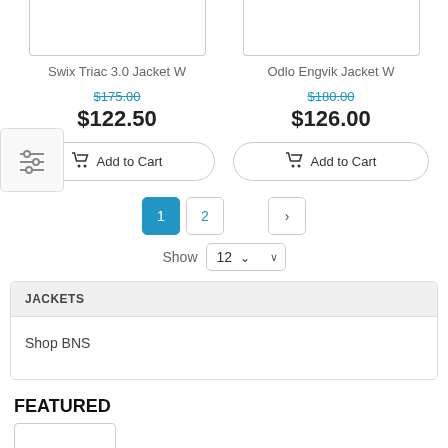[Figure (screenshot): Product image placeholder for Swix Triac 3.0 Jacket W (top cropped)]
[Figure (screenshot): Product image placeholder for Odlo Engvik Jacket W (top cropped)]
Swix Triac 3.0 Jacket W
Odlo Engvik Jacket W
$175.00 (strikethrough, original price)
$122.50 (sale price)
$180.00 (strikethrough, original price)
$126.00 (sale price)
Add to Cart
Add to Cart
1 2 > pagination
Show 12
JACKETS
Shop BNS
FEATURED